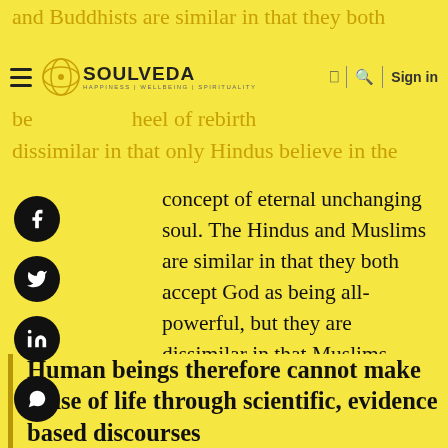and Buddhists are similar in that they both believe in the wheel of rebirth | Sign in
dissimilar in that only Hindus believe in the
concept of eternal unchanging soul. The Hindus and Muslims are similar in that they both accept God as being all-powerful, but they are dissimilar in that Muslims believe in one life and one way of reaching God, by following the path revealed to the Prophet Muhammad.
Human beings therefore cannot make sense of life through scientific, evidence based discourses